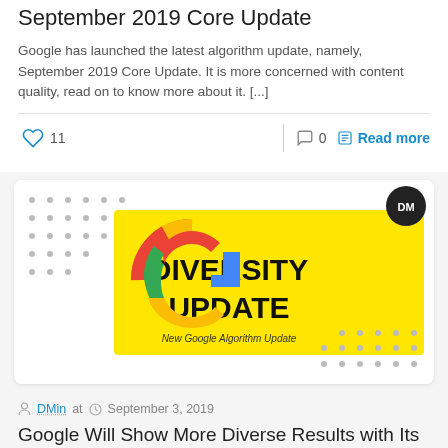September 2019 Core Update
Google has launched the latest algorithm update, namely, September 2019 Core Update. It is more concerned with content quality, read on to know more about it. [...]
♡ 11   💬 0   Read more
[Figure (illustration): Card image showing Google logo with colorful G icon on a white/dotted background and a yellow rectangle with bold black text reading 'DIVERSITY UPDATE' and subtitle 'New Google Algorithm Update'. A dark circular avatar with 'DM' initials is in the top-right corner.]
DMin at   September 3, 2019
Google Will Show More Diverse Results with Its New Update